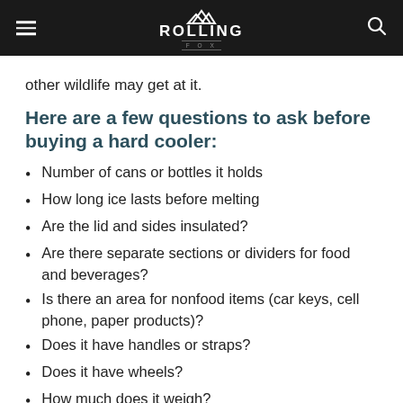ROLLING FOX
other wildlife may get at it.
Here are a few questions to ask before buying a hard cooler:
Number of cans or bottles it holds
How long ice lasts before melting
Are the lid and sides insulated?
Are there separate sections or dividers for food and beverages?
Is there an area for nonfood items (car keys, cell phone, paper products)?
Does it have handles or straps?
Does it have wheels?
How much does it weigh?